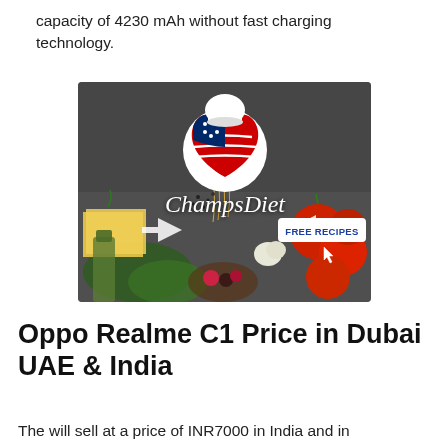capacity of 4230 mAh without fast charging technology.
[Figure (photo): ChampsDiet advertisement banner featuring food items (tomatoes, cheese, pasta, herbs, olive oil), a heart logo with American flag pattern, the text 'ChampsDiet' in cursive, and a 'FREE RECIPES' button with arrows pointing to it and a cursor icon.]
Oppo Realme C1 Price in Dubai UAE & India
The will sell at a price of INR7000 in India and in